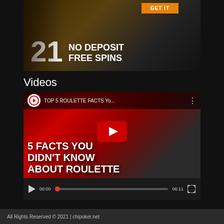[Figure (screenshot): Casino promotional banner showing a character in adventure outfit, orange 'GET IT' button, large '21' text and 'NO DEPOSIT FREE SPINS' text on dark background]
Videos
[Figure (screenshot): YouTube video player showing 'TOP 5 ROULETTE FACTS Yo...' video thumbnail with text '5 FACTS YOU DIDN'T KNOW ABOUT ROULETTE' and a person's face, with playback controls showing 00:00 / 06:11]
All Rights Reserved © 2021 | chipoker.net